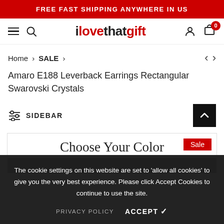FREE FAST SHIPPING ANYWHERE IN US
ilovethatgift
Home > SALE >
Amaro E188 Leverback Earrings Rectangular Swarovski Crystals
SIDEBAR
Sale
Choose Your Color
The cookie settings on this website are set to 'allow all cookies' to give you the very best experience. Please click Accept Cookies to continue to use the site.
PRIVACY POLICY   ACCEPT ✓